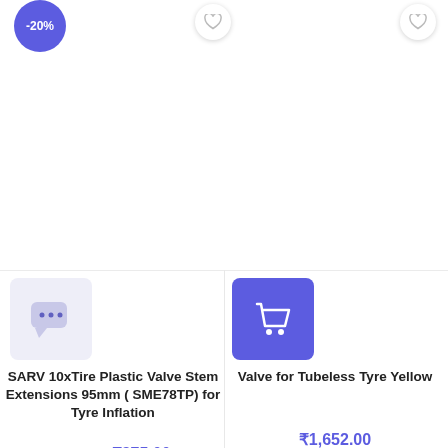[Figure (screenshot): E-commerce product listing page showing two products: SARV 10xTire Plastic Valve Stem Extensions with -20% discount badge, and Valve for Tubeless Tyre Yellow. Top section has a -20% discount badge and heart/wishlist icons. Bottom section shows a dark blurred background image with partial text 'Our Online St...']
-20%
SARV 10xTire Plastic Valve Stem Extensions 95mm ( SME78TP) for Tyre Inflation
₹470.00 ₹375.00
Valve for Tubeless Tyre Yellow
₹1,652.00
Our Online St...